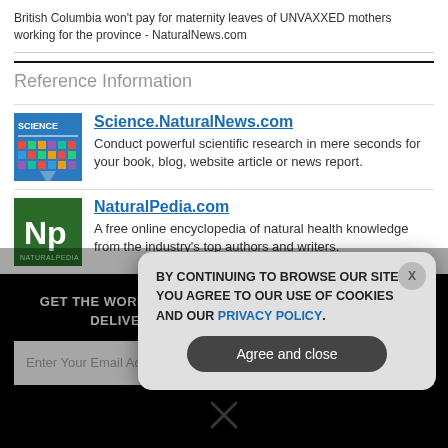British Columbia won't pay for maternity leaves of UNVAXXED mothers working for the province - NaturalNews.com
Reference Information
Science.NaturalNews.com
Conduct powerful scientific research in mere seconds for your book, blog, website article or news report.
NaturalPedia.com
A free online encyclopedia of natural health knowledge from the industry's top authors and writers.
GET THE WORLD'S BEST NATURAL HEALTH NEWSLETTER DELIVERED STRAIGHT TO YOUR INBOX
Enter Your Email Address
SUBSCRIBE
[Figure (screenshot): Cookie consent modal dialog with text: BY CONTINUING TO BROWSE OUR SITE YOU AGREE TO OUR USE OF COOKIES AND OUR PRIVACY POLICY. With an Agree and close button.]